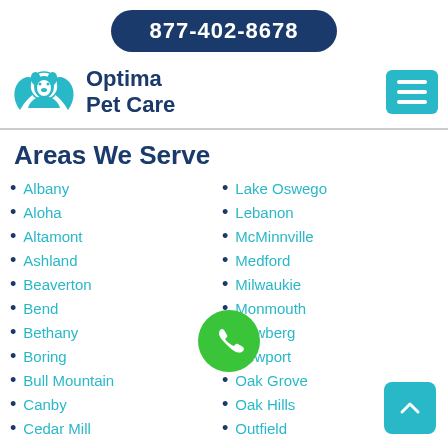877-402-8678
[Figure (logo): Optima Pet Care logo with blue paw/pet silhouette and brand name]
Areas We Serve
Albany
Aloha
Altamont
Ashland
Beaverton
Bend
Bethany
Boring
Bull Mountain
Canby
Cedar Mill
Lake Oswego
Lebanon
McMinnville
Medford
Milwaukie
Monmouth
Newberg
Newport
Oak Grove
Oak Hills
Outfield